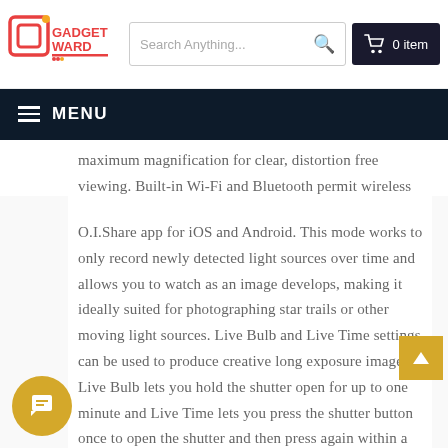Gadget Ward — Search Anything... | 0 item
MENU
maximum magnification for clear, distortion free viewing. Built-in Wi-Fi and Bluetooth permit wireless O.I.Share app for iOS and Android. This mode works to only record newly detected light sources over time and allows you to watch as an image develops, making it ideally suited for photographing star trails or other moving light sources. Live Bulb and Live Time settings can be used to produce creative long exposure imagery. Live Bulb lets you hold the shutter open for up to one minute and Live Time lets you press the shutter button once to open the shutter and then press again within a minute to end the exposure.